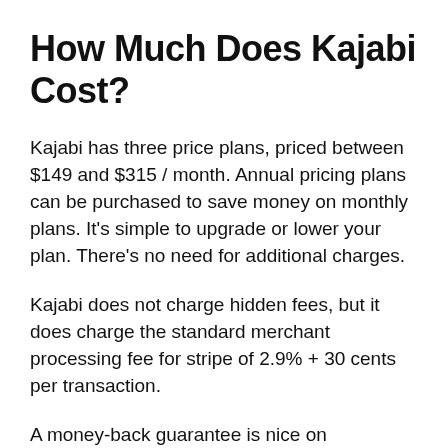How Much Does Kajabi Cost?
Kajabi has three price plans, priced between $149 and $315 / month. Annual pricing plans can be purchased to save money on monthly plans. It's simple to upgrade or lower your plan. There's no need for additional charges.
Kajabi does not charge hidden fees, but it does charge the standard merchant processing fee for stripe of 2.9% + 30 cents per transaction.
A money-back guarantee is nice on Kajabi.This gives you plenty of time to test